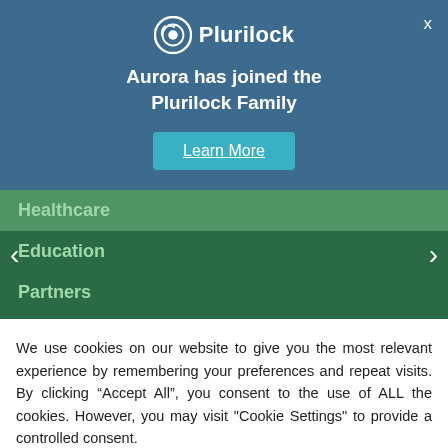[Figure (logo): Plurilock logo with circular icon and white text on blue background]
Aurora has joined the Plurilock Family
Learn More
Healthcare
Education
Partners
We use cookies on our website to give you the most relevant experience by remembering your preferences and repeat visits. By clicking “Accept All”, you consent to the use of ALL the cookies. However, you may visit "Cookie Settings" to provide a controlled consent.
Cookie Settings
Accept All